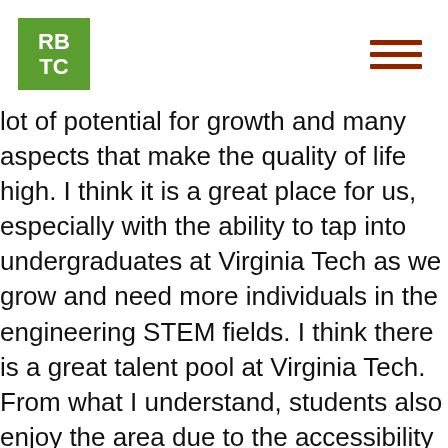[Figure (logo): RBTC logo — green square with white bold letters RB on top row and TC on bottom row]
lot of potential for growth and many aspects that make the quality of life high. I think it is a great place for us, especially with the ability to tap into undergraduates at Virginia Tech as we grow and need more individuals in the engineering STEM fields. I think there is a great talent pool at Virginia Tech. From what I understand, students also enjoy the area due to the accessibility of nature in a metropolitan setting that still provides an affordability of living.  There is also a lot of movement and growth in the health care field through the Virginia Tech Carilion partnership.